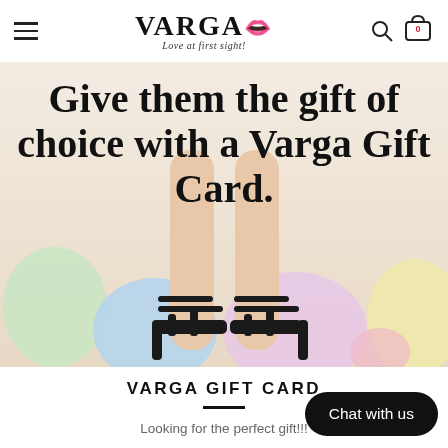VARGA Love at first sight! [logo] [hamburger menu] [search icon] [cart icon 0]
[Figure (photo): Photo of a woman's legs wearing black strappy high heel shoes surrounded by colorful pastel balloons (green, blue, pink, yellow). Large bold text overlay reads: Give them the gift of choice with a Varga Gift Card.]
Give them the gift of choice with a Varga Gift Card.
VARGA GIFT CARD
Looking for the perfect gift!!!
Chat with us